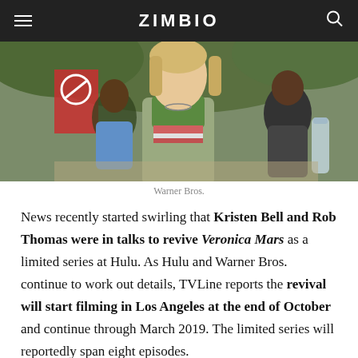ZIMBIO
[Figure (photo): Photo of a woman in a green hoodie jacket over a striped shirt, sitting outdoors with other people behind her. Warner Bros. photo.]
Warner Bros.
News recently started swirling that Kristen Bell and Rob Thomas were in talks to revive Veronica Mars as a limited series at Hulu. As Hulu and Warner Bros. continue to work out details, TVLine reports the revival will start filming in Los Angeles at the end of October and continue through March 2019. The limited series will reportedly span eight episodes.
There's been no yet no official confirmation, but sources said